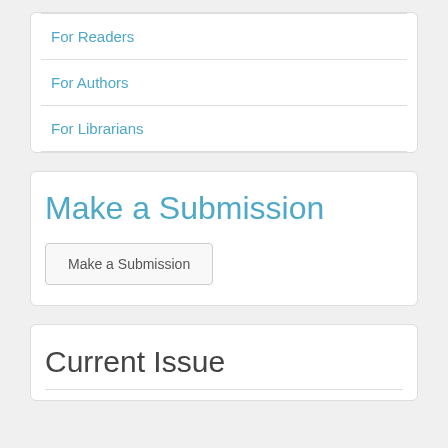For Readers
For Authors
For Librarians
Make a Submission
Make a Submission
Current Issue